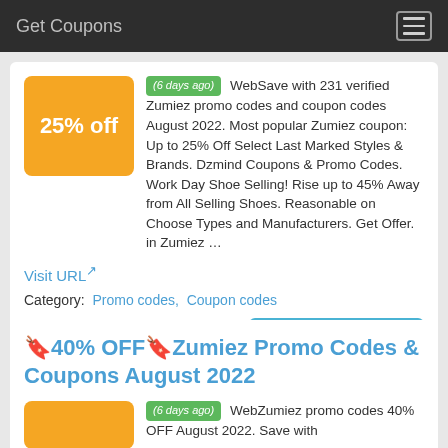Get Coupons
(6 days ago) WebSave with 231 verified Zumiez promo codes and coupon codes August 2022. Most popular Zumiez coupon: Up to 25% Off Select Last Marked Styles & Brands. Dzmind Coupons & Promo Codes. Work Day Shoe Selling! Rise up to 45% Away from All Selling Shoes. Reasonable on Choose Types and Manufacturers. Get Offer. in Zumiez …
Visit URL
Category: Promo codes, Coupon codes
Show All Coupons
🔖40% OFF🔖Zumiez Promo Codes & Coupons August 2022
(6 days ago) WebZumiez promo codes 40% OFF August 2022. Save with